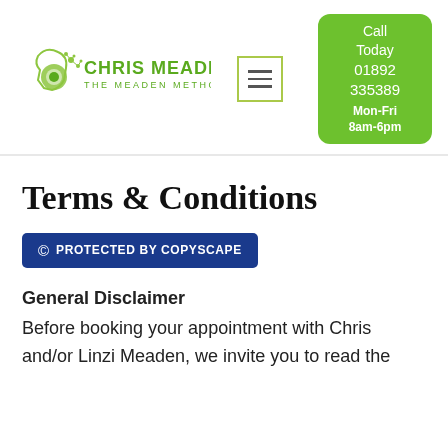[Figure (logo): Chris Meaden – The Meaden Method logo with green brain/molecule icon and green text]
[Figure (other): Hamburger menu icon (three horizontal lines in a square border)]
[Figure (infographic): Green rounded rectangle call-to-action box: 'Call Today 01892 335389 Mon-Fri 8am-6pm']
Terms & Conditions
[Figure (other): Blue badge: © PROTECTED BY COPYSCAPE]
General Disclaimer
Before booking your appointment with Chris and/or Linzi Meaden, we invite you to read the